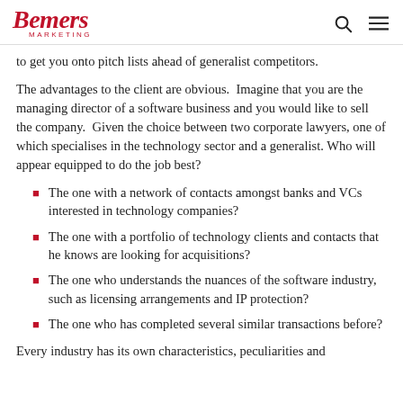Bemers Marketing
to get you onto pitch lists ahead of generalist competitors.
The advantages to the client are obvious.  Imagine that you are the managing director of a software business and you would like to sell the company.  Given the choice between two corporate lawyers, one of which specialises in the technology sector and a generalist. Who will appear equipped to do the job best?
The one with a network of contacts amongst banks and VCs interested in technology companies?
The one with a portfolio of technology clients and contacts that he knows are looking for acquisitions?
The one who understands the nuances of the software industry, such as licensing arrangements and IP protection?
The one who has completed several similar transactions before?
Every industry has its own characteristics, peculiarities and